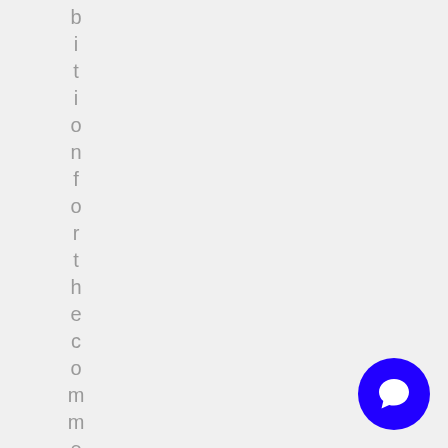bitionfortheccommercialc
[Figure (other): Blue circular chat/support button with speech bubble icon in bottom right corner]